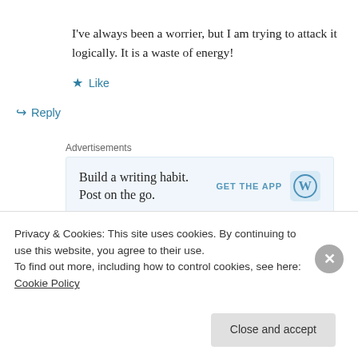I've always been a worrier, but I am trying to attack it logically. It is a waste of energy!
★ Like
↪ Reply
Advertisements
[Figure (other): WordPress app advertisement banner: 'Build a writing habit. Post on the go.' with GET THE APP button and WordPress logo]
Soumya Prasad on November 18, 2015 at 2:17 pm
Privacy & Cookies: This site uses cookies. By continuing to use this website, you agree to their use.
To find out more, including how to control cookies, see here: Cookie Policy
Close and accept